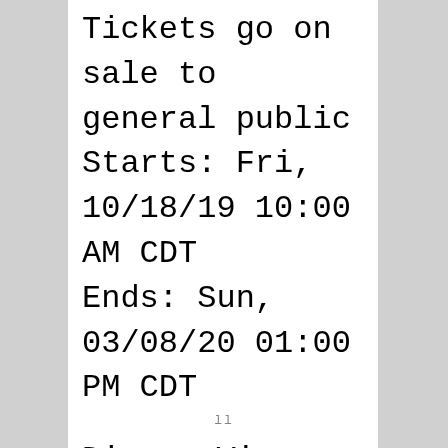Tickets go on sale to general public
Starts: Fri, 10/18/19 10:00 AM CDT
Ends: Sun, 03/08/20 01:00 PM CDT
Disney Visa Presale
Starts: Tue, 10/08/19 10:00 AM CDT
Ends: Thu, 10/17/19 10:00 PM CDT
Disney CDE Presale
Starts: Thu, 10/10/19 10:00 AM CDT
Ends: Thu, 10/17/19 10:00 PM CDT
Orpheum eNews Presale
Starts: Thu, 10/10/19 10:00 AM CDT
Ends: Thu, 10/17/19 10:00 PM CDT
...